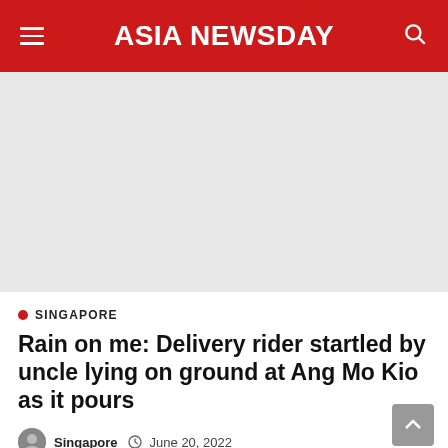ASIA NEWSDAY
[Figure (photo): Large image placeholder area (light grey), likely an article photo]
SINGAPORE
Rain on me: Delivery rider startled by uncle lying on ground at Ang Mo Kio as it pours
Singapore  June 20, 2022